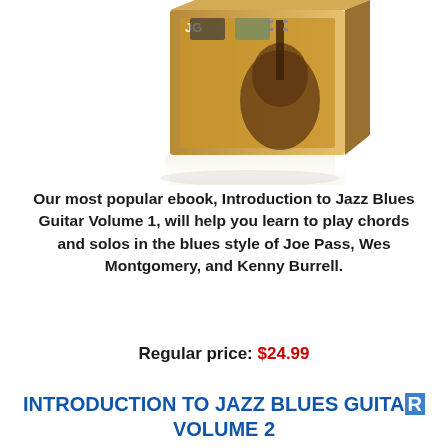[Figure (photo): Product box image of a jazz blues guitar ebook, showing a guitar on the cover with a white background and reflection below.]
Our most popular ebook, Introduction to Jazz Blues Guitar Volume 1, will help you learn to play chords and solos in the blues style of Joe Pass, Wes Montgomery, and Kenny Burrell.
Regular price: $24.99
INTRODUCTION TO JAZZ BLUES GUITAR VOLUME 2